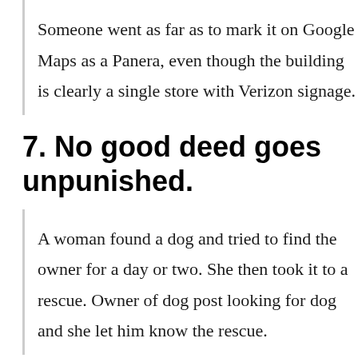Someone went as far as to mark it on Google Maps as a Panera, even though the building is clearly a single store with Verizon signage.
7. No good deed goes unpunished.
A woman found a dog and tried to find the owner for a day or two. She then took it to a rescue. Owner of dog post looking for dog and she let him know the rescue.